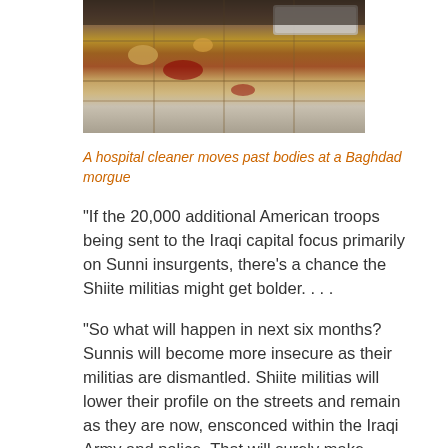[Figure (photo): A photograph showing a tiled floor with objects and debris, taken at a Baghdad morgue]
A hospital cleaner moves past bodies at a Baghdad morgue
"If the 20,000 additional American troops being sent to the Iraqi capital focus primarily on Sunni insurgents, there's a chance the Shiite militias might get bolder. . . .
"So what will happen in next six months? Sunnis will become more insecure as their militias are dismantled. Shiite militias will lower their profile on the streets and remain as they are now, ensconced within the Iraqi Army and police. That will surely make Sunnis less likely to support the new Iraq. Shiite political leaders, on the other hand, will be emboldened.
" . . . The greatest danger of Bush's new strategy, then, isn't that it won't work but that it will -- and thereby push the country one step further along